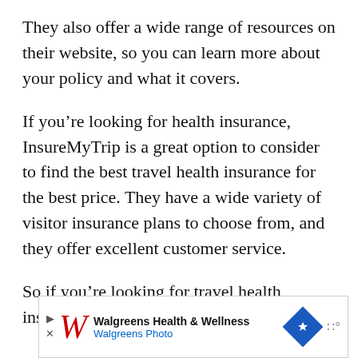They also offer a wide range of resources on their website, so you can learn more about your policy and what it covers.
If you're looking for health insurance, InsureMyTrip is a great option to consider to find the best travel health insurance for the best price. They have a wide variety of visitor insurance plans to choose from, and they offer excellent customer service.
So if you're looking for travel health insurance, InsureMyTrip is a great choice.
[Figure (other): Walgreens Health & Wellness advertisement banner with Walgreens logo, navigation icon, and Walgreens Photo text]